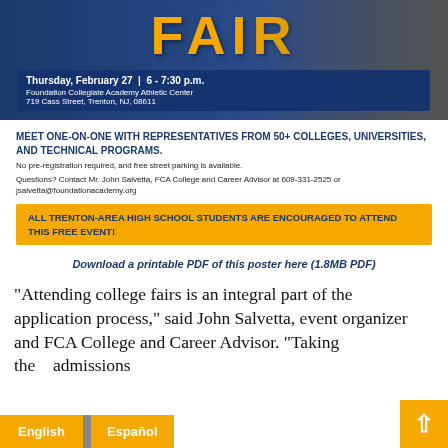[Figure (illustration): College fair poster with large 'FAIR' text in gold/yellow on dark blue background, with event date and location info box. Shows a person in graduation attire in the background.]
MEET ONE-ON-ONE WITH REPRESENTATIVES FROM 50+ COLLEGES, UNIVERSITIES, AND TECHNICAL PROGRAMS.
No pre-registration required, and free street parking is available.
Questions? Contact Mr. John Salvetta, FCA College and Career Advisor at 609-331-2525 or jsalvetta@foundationacademy.org
ALL TRENTON-AREA HIGH SCHOOL STUDENTS ARE ENCOURAGED TO ATTEND THIS FREE EVENT!
Download a printable PDF of this poster here (1.8MB PDF)
“Attending college fairs is an integral part of the application process,” said John Salvetta, event organizer and FCA College and Career Advisor. “Taking the time to meet admissions